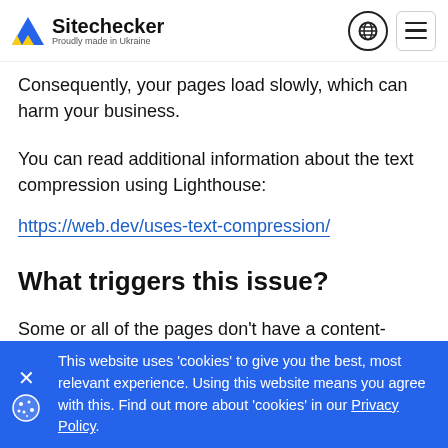Sitechecker — Proudly made in Ukraine
Consequently, your pages load slowly, which can harm your business.
You can read additional information about the text compression using Lighthouse:
https://web.dev/uses-text-compression/
What triggers this issue?
Some or all of the pages don't have a content-encoding header set to br, gzip, or deflate. Each of these file formats is used for file compression. If you use one of these formats, you can take large zipped files, extract them, and show them to users.